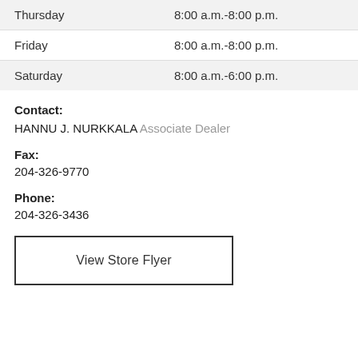| Day | Hours |
| --- | --- |
| Thursday | 8:00 a.m.-8:00 p.m. |
| Friday | 8:00 a.m.-8:00 p.m. |
| Saturday | 8:00 a.m.-6:00 p.m. |
Contact:
HANNU J. NURKKALA Associate Dealer
Fax:
204-326-9770
Phone:
204-326-3436
View Store Flyer